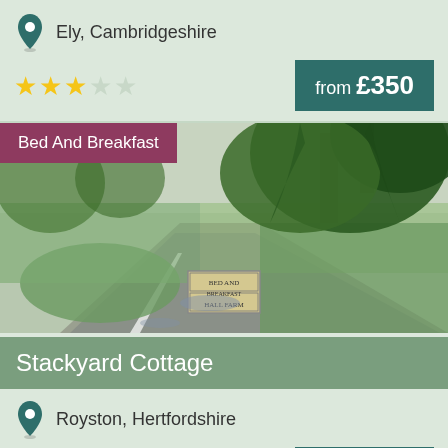Ely, Cambridgeshire
★★★☆☆  from £350
[Figure (photo): Country road with trees and a sign reading 'Bed and Breakfast Hall Farm']
Stackyard Cottage
Bed And Breakfast
Royston, Hertfordshire
from £100